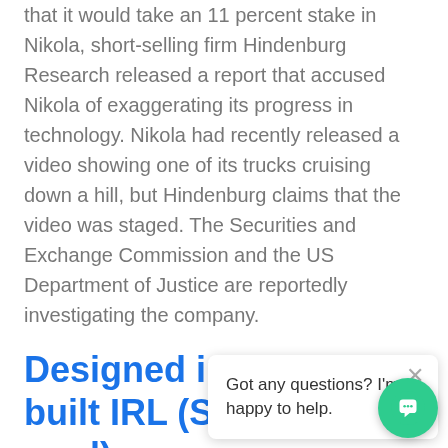that it would take an 11 percent stake in Nikola, short-selling firm Hindenburg Research released a report that accused Nikola of exaggerating its progress in technology. Nikola had recently released a video showing one of its trucks cruising down a hill, but Hindenburg claims that the video was staged. The Securities and Exchange Commission and the US Department of Justice are reportedly investigating the company.
Designed in Minecraft, built IRL (S read)
Block by Block is a joint venture by the UN, Microsoft, and Mojang to improve marginalized areas by actively engaging community members in public projects. More than 17,000 people have participated in Block by Block